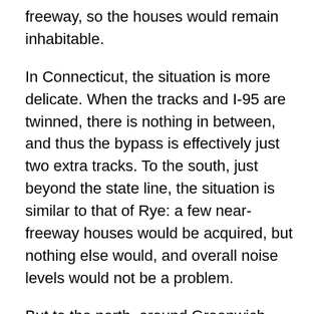freeway, so the houses would remain inhabitable.
In Connecticut, the situation is more delicate. When the tracks and I-95 are twinned, there is nothing in between, and thus the bypass is effectively just two extra tracks. To the south, just beyond the state line, the situation is similar to that of Rye: a few near-freeway houses would be acquired, but nothing else would, and overall noise levels would not be a problem.
But to the north, around Greenwich station, the proposed alignment follows the I-95 right-of-way, with no residential takings, and one possible commercial taking at Greenwich Plaza. This alignment comes at the cost of a sharp curve: 600 meters, comparable to the existing Greenwich curve. This would provide improvements in capacity, as intercity trains could overtake express commuter trains (which